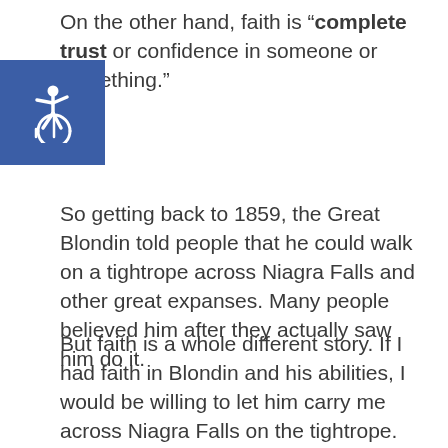On the other hand, faith is “complete trust or confidence in someone or something.”
[Figure (illustration): Accessibility wheelchair icon in white on a blue square background]
So getting back to 1859, the Great Blondin told people that he could walk on a tightrope across Niagra Falls and other great expanses. Many people believed him after they actually saw him do it.
But faith is a whole different story. If I had faith in Blondin and his abilities, I would be willing to let him carry me across Niagra Falls on the tightrope.